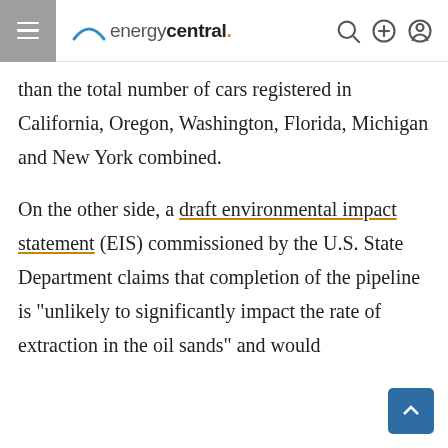energycentral.
than the total number of cars registered in California, Oregon, Washington, Florida, Michigan and New York combined.
On the other side, a draft environmental impact statement (EIS) commissioned by the U.S. State Department claims that completion of the pipeline is “unlikely to significantly impact the rate of extraction in the oil sands” and would